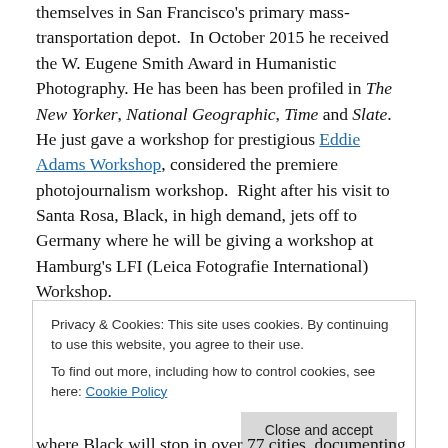themselves in San Francisco's primary mass-transportation depot.  In October 2015 he received the W. Eugene Smith Award in Humanistic Photography. He has been has been profiled in The New Yorker, National Geographic, Time and Slate.  He just gave a workshop for prestigious Eddie Adams Workshop, considered the premiere photojournalism workshop.  Right after his visit to Santa Rosa, Black, in high demand, jets off to Germany where he will be giving a workshop at Hamburg's LFI (Leica Fotografie International) Workshop.
Privacy & Cookies: This site uses cookies. By continuing to use this website, you agree to their use.
To find out more, including how to control cookies, see here: Cookie Policy
where Black will stop in over 77 cities, documenting the